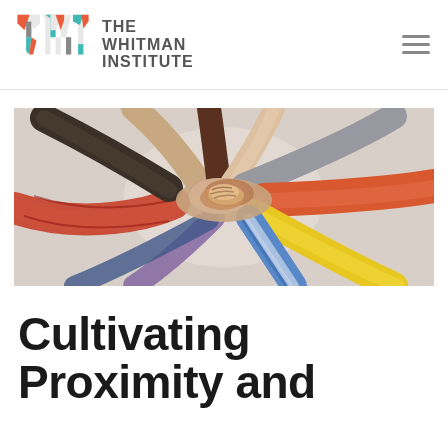THE WHITMAN INSTITUTE
[Figure (photo): Overhead view of diverse group of people with hands stacked together in the center, showing teamwork and unity.]
Cultivating Proximity and